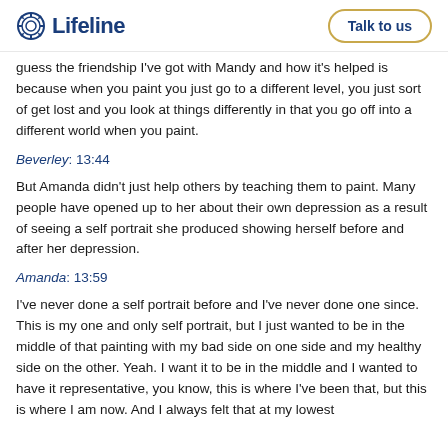Lifeline | Talk to us
guess the friendship I've got with Mandy and how it's helped is because when you paint you just go to a different level, you just sort of get lost and you look at things differently in that you go off into a different world when you paint.
Beverley: 13:44
But Amanda didn't just help others by teaching them to paint. Many people have opened up to her about their own depression as a result of seeing a self portrait she produced showing herself before and after her depression.
Amanda: 13:59
I've never done a self portrait before and I've never done one since. This is my one and only self portrait, but I just wanted to be in the middle of that painting with my bad side on one side and my healthy side on the other. Yeah. I want it to be in the middle and I wanted to have it representative, you know, this is where I've been that, but this is where I am now. And I always felt that at my lowest